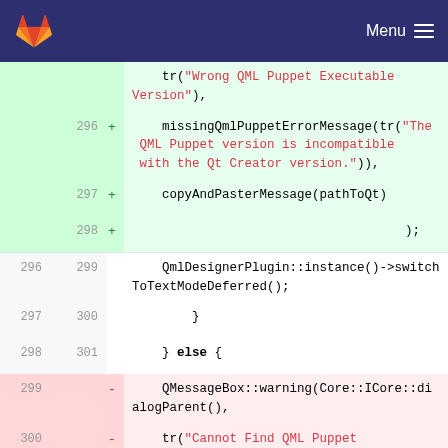GitLab Menu
[Figure (screenshot): GitLab code diff view showing source code changes with line numbers, added lines (green background) and removed lines (red background). Code involves QML Puppet error messages and Qt Creator version checks.]